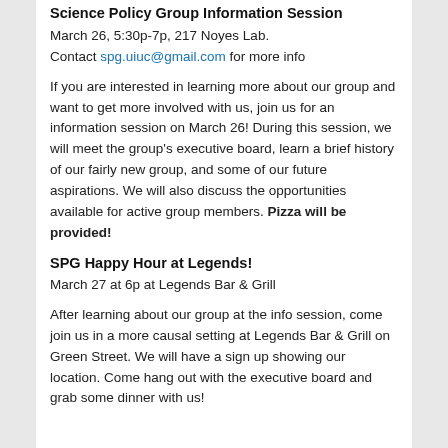Science Policy Group Information Session
March 26, 5:30p-7p, 217 Noyes Lab.
Contact spg.uiuc@gmail.com for more info
If you are interested in learning more about our group and want to get more involved with us, join us for an information session on March 26! During this session, we will meet the group's executive board, learn a brief history of our fairly new group, and some of our future aspirations. We will also discuss the opportunities available for active group members. Pizza will be provided!
SPG Happy Hour at Legends!
March 27 at 6p at Legends Bar & Grill
After learning about our group at the info session, come join us in a more causal setting at Legends Bar & Grill on Green Street. We will have a sign up showing our location. Come hang out with the executive board and grab some dinner with us!